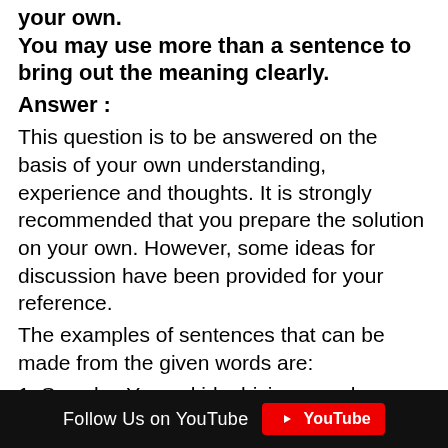your own.
You may use more than a sentence to bring out the meaning clearly.
Answer :
This question is to be answered on the basis of your own understanding, experience and thoughts. It is strongly recommended that you prepare the solution on your own. However, some ideas for discussion have been provided for your reference.
The examples of sentences that can be made from the given words are:
1. Swanky: Young kids driving swanky cars is a common sight in Delhi.
2. Candour: Talk show hosts are often successful in making politicians and
Follow Us on YouTube